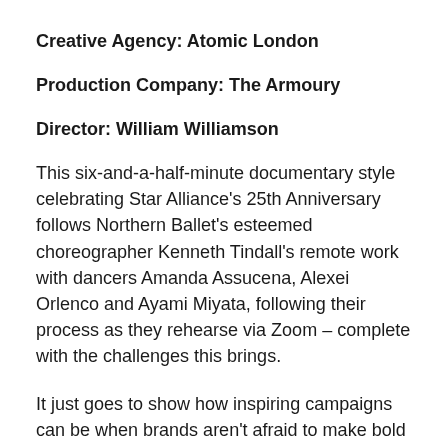Creative Agency: Atomic London
Production Company: The Armoury
Director: William Williamson
This six-and-a-half-minute documentary style celebrating Star Alliance's 25th Anniversary follows Northern Ballet's esteemed choreographer Kenneth Tindall's remote work with dancers Amanda Assucena, Alexei Orlenco and Ayami Miyata, following their process as they rehearse via Zoom – complete with the challenges this brings.
It just goes to show how inspiring campaigns can be when brands aren't afraid to make bold creative choices – seen here especially through the choice to